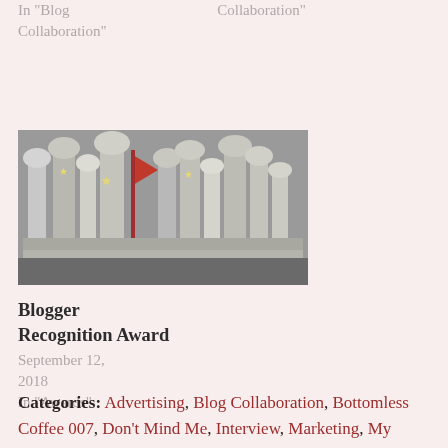In "Blog Collaboration"
Collaboration"
[Figure (photo): A collection of trophies and awards, silver and gold metallic, with a red ribbon/flag element visible among them.]
Blogger Recognition Award
September 12, 2018
In "Awards"
Categories: Advertising, Blog Collaboration, Bottomless Coffee 007, Don't Mind Me, Interview, Marketing, My Story, Networking, Podcast, Recommendations, Side Hustle, Teresa's Big O(pinion), Tips, Tips and Tricks, Tune In Tuesday • Tags: Advertising, avon,